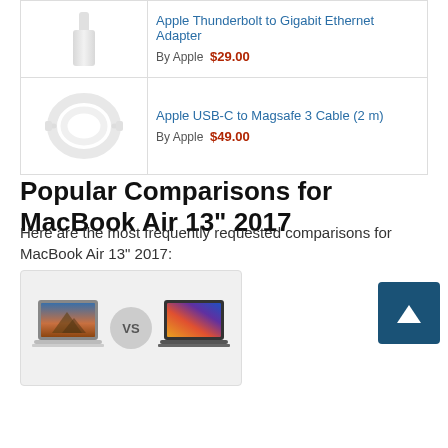| Image | Product |
| --- | --- |
| [adapter image] | Apple Thunderbolt to Gigabit Ethernet Adapter
By Apple  $29.00 |
| [cable image] | Apple USB-C to Magsafe 3 Cable (2 m)
By Apple  $49.00 |
Popular Comparisons for MacBook Air 13" 2017
Here are the most frequently requested comparisons for MacBook Air 13" 2017:
[Figure (illustration): Comparison card showing two MacBook laptops side by side with a VS circle in the middle, on a light gray background]
[Figure (other): Dark blue scroll-to-top button with upward arrow]